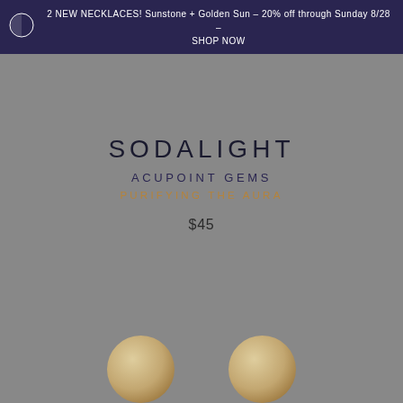2 NEW NECKLACES! Sunstone + Golden Sun – 20% off through Sunday 8/28 – SHOP NOW
SODALIGHT
ACUPOINT GEMS
PURIFYING THE AURA
$45
[Figure (photo): Two round gem/stone products shown at bottom of page against grey background]